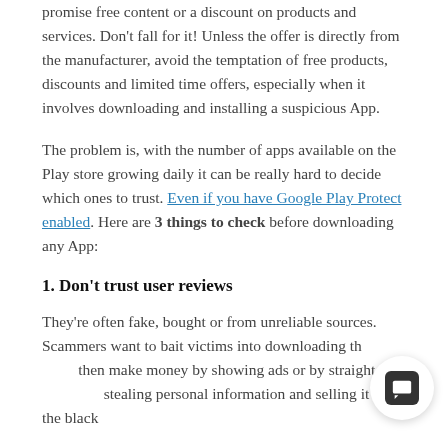promise free content or a discount on products and services. Don't fall for it! Unless the offer is directly from the manufacturer, avoid the temptation of free products, discounts and limited time offers, especially when it involves downloading and installing a suspicious App.
The problem is, with the number of apps available on the Play store growing daily it can be really hard to decide which ones to trust. Even if you have Google Play Protect enabled. Here are 3 things to check before downloading any App:
1. Don't trust user reviews
They're often fake, bought or from unreliable sources. Scammers want to bait victims into downloading th then make money by showing ads or by straight up stealing personal information and selling it on the black